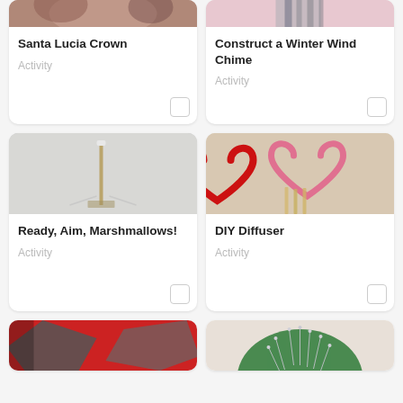[Figure (photo): Partial top of Santa Lucia Crown card image, showing warm earthy tones]
Santa Lucia Crown
Activity
[Figure (photo): Partial top of Construct a Winter Wind Chime card image, showing pinkish tones]
Construct a Winter Wind Chime
Activity
[Figure (photo): Photo of a marshmallow launcher device against a gray background]
Ready, Aim, Marshmallows!
Activity
[Figure (photo): Photo of red and pink pipe cleaner hearts on a beige background with wooden sticks]
DIY Diffuser
Activity
[Figure (photo): Partial photo of red and gray paper craft on dark background]
[Figure (photo): Partial photo of green pincushion with pins]